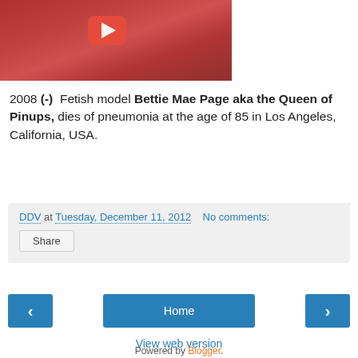[Figure (screenshot): YouTube video thumbnail showing a person in red clothing with a red YouTube play button overlay]
2008 (-) Fetish model Bettie Mae Page aka the Queen of Pinups, dies of pneumonia at the age of 85 in Los Angeles, California, USA.
DDV at Tuesday, December 11, 2012  No comments:
Share
Home
View web version
Powered by Blogger.